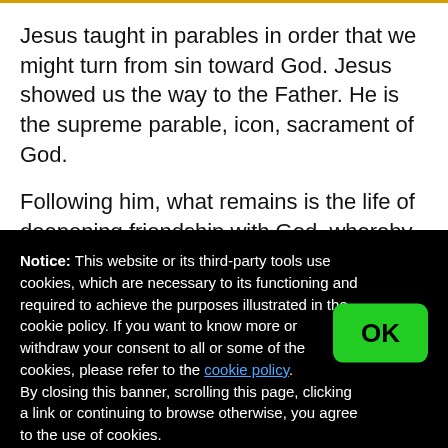Jesus taught in parables in order that we might turn from sin toward God.  Jesus showed us the way to the Father.  He is the supreme parable, icon, sacrament of God.
Following him, what remains is the life of deepening friendship with God, whereby we gain our freedom.  We deepen the life of God in us and move ever closer to
Notice: This website or its third-party tools use cookies, which are necessary to its functioning and required to achieve the purposes illustrated in the cookie policy. If you want to know more or withdraw your consent to all or some of the cookies, please refer to the cookie policy. By closing this banner, scrolling this page, clicking a link or continuing to browse otherwise, you agree to the use of cookies.